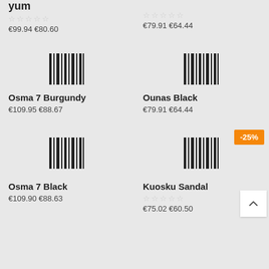yum
☆☆☆☆☆
€99.94 €80.60
☆☆☆☆☆
€79.91 €64.44
[Figure (other): Barcode icon for Osma 7 Burgundy]
[Figure (other): Barcode icon for Ounas Black]
Osma 7 Burgundy
€109.95 €88.67
Ounas Black
€79.91 €64.44
[Figure (other): Barcode icon for Osma 7 Black]
[Figure (other): Barcode icon for Kuosku Sandal with -25% badge]
Osma 7 Black
€109.90 €88.63
Kuosku Sandal
☆☆☆☆☆
€75.02 €60.50